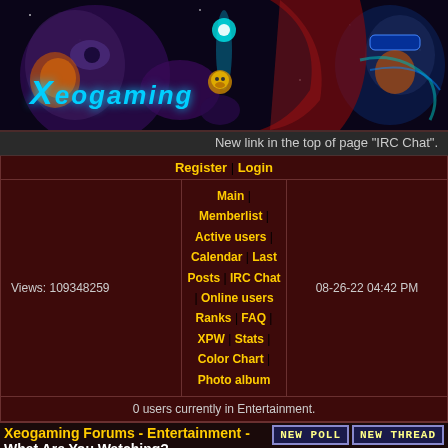[Figure (illustration): Xeogaming forum banner with sci-fi robot/character artwork and cyan 'Xeogaming' logo]
New link in the top of page "IRC Chat".
Register | Login
Views: 109348259 | Main | Memberlist | Active users | Calendar | Last Posts | IRC Chat | Online users | Ranks | FAQ | XPW | Stats | Color Chart | Photo album | 08-26-22 04:42 PM
0 users currently in Entertainment.
Xeogaming Forums - Entertainment - What Are You Watching?
Pages: 1 2 3 4 5 6 7 8 9 10 11 12 13 14 15 16 17 18 19 20 21 22 23 24 | Next older thread
| User | Post |
| --- | --- |
| Elara
Divine Mamkute
Ms. Invisable
Level: 179 | Posted on 01-25-13 10:20 AM  Link | Quote
So Ben has been watching the West Wing on netflix... my that show was optimistic about us solving problems. |
Posted on 01-25-13  Link | Quote  10:20 AM
So Ben has been watching the West Wing on netflix... my that show was optimistic about us solving problems.